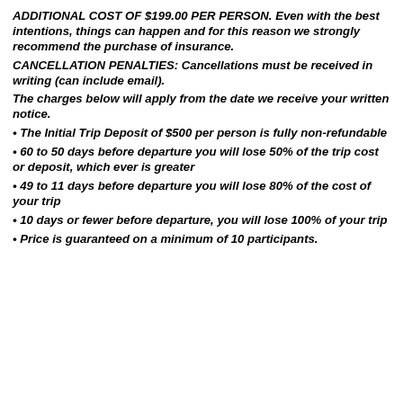ADDITIONAL COST OF $199.00 PER PERSON. Even with the best intentions, things can happen and for this reason we strongly recommend the purchase of insurance.
CANCELLATION PENALTIES: Cancellations must be received in writing (can include email).
The charges below will apply from the date we receive your written notice.
The Initial Trip Deposit of $500 per person is fully non-refundable
60 to 50 days before departure you will lose 50% of the trip cost or deposit, which ever is greater
49 to 11 days before departure you will lose 80% of the cost of your trip
10 days or fewer before departure, you will lose 100% of your trip
Price is guaranteed on a minimum of 10 participants.